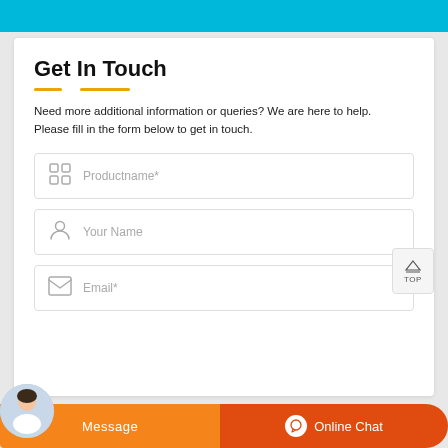Get In Touch
Need more additional information or queries? We are here to help. Please fill in the form below to get in touch.
[Figure (infographic): Contact form with three fields: Productname*, Your Name, Email*]
[Figure (infographic): Bottom bar with Message button and Online Chat button, customer service avatar on bottom left]